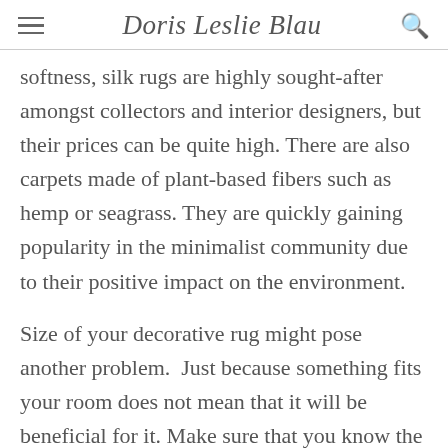Doris Leslie Blau
softness, silk rugs are highly sought-after amongst collectors and interior designers, but their prices can be quite high. There are also carpets made of plant-based fibers such as hemp or seagrass. They are quickly gaining popularity in the minimalist community due to their positive impact on the environment.
Size of your decorative rug might pose another problem.  Just because something fits your room does not mean that it will be beneficial for it. Make sure that you know the size of your